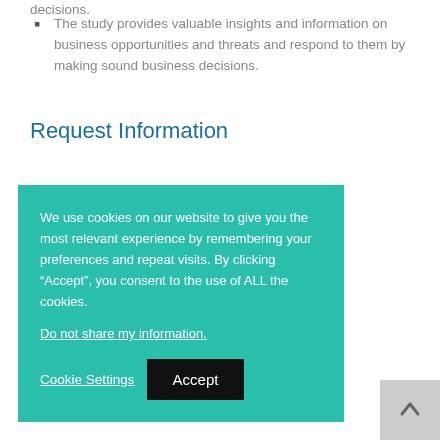decisions.
The study provides valuable insights and information on business opportunities and threats and respond to them by making sound business decisions.
Request Information
We use cookies on our website to give you the most relevant experience by remembering your preferences and repeat visits. By clicking “Accept”, you consent to the use of ALL the cookies.
Do not share my information.
Cookie Settings  Accept